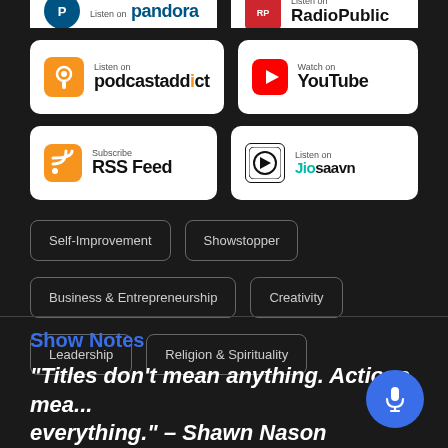[Figure (screenshot): Pandora platform button (partially visible at top)]
[Figure (screenshot): RadioPublic platform button (partially visible at top)]
[Figure (screenshot): Podcast Addict Listen on button]
[Figure (screenshot): YouTube Watch on button]
[Figure (screenshot): RSS Feed Subscribe button]
[Figure (screenshot): JioSaavn Listen on button]
Self-Improvement
Showstopper
Business & Entrepreneurship
Creativity
Leadership
Religion & Spirituality
Show Notes
“Titles don’t mean anything. Actions mean everything.” – Shawn Nason